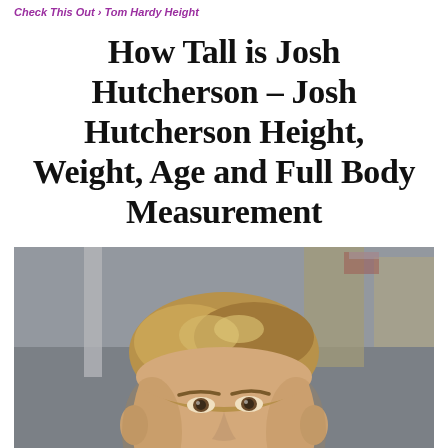Check This Out › Tom Hardy Height
How Tall is Josh Hutcherson – Josh Hutcherson Height, Weight, Age and Full Body Measurement
[Figure (photo): Portrait photo of Josh Hutcherson, a young man with short sandy brown hair styled upward, looking slightly upward, with a blurred outdoor/urban background.]